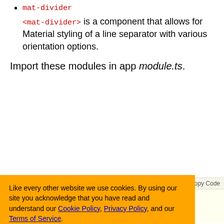mat-divider
<mat-divider> is a component that allows for Material styling of a line separator with various orientation options.
Import these modules in app module.ts.
[Figure (screenshot): Code block showing import statements with 'Shrink' and 'Copy Code' buttons, yellow background, showing partial import lines including r/core' and BrowserAnimationsModule from]
Cookie banner: Like every other website we use cookies. By using our site you acknowledge that you have read and understand our Cookie Policy, Privacy Policy, and our Terms of Service. Learn more. Buttons: Ask me later, Decline, Allow cookies